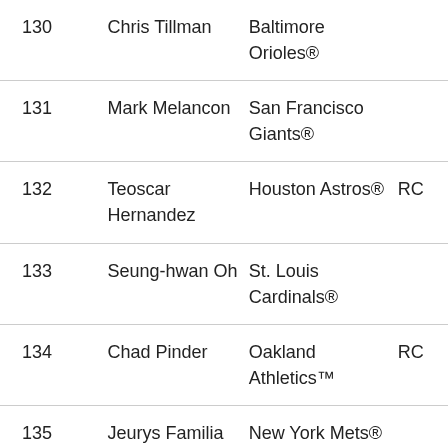| 130 | Chris Tillman | Baltimore Orioles® |  |
| 131 | Mark Melancon | San Francisco Giants® |  |
| 132 | Teoscar Hernandez | Houston Astros® | RC |
| 133 | Seung-hwan Oh | St. Louis Cardinals® |  |
| 134 | Chad Pinder | Oakland Athletics™ | RC |
| 135 | Jeurys Familia | New York Mets® |  |